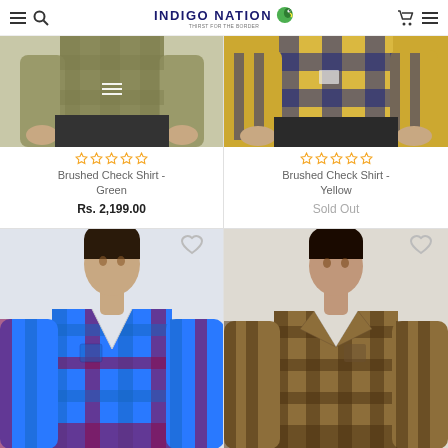INDIGO NATION
[Figure (photo): Partial torso view of male model wearing Brushed Check Shirt in Green/olive plaid pattern]
[Figure (photo): Partial torso view of male model wearing Brushed Check Shirt in Yellow/navy check pattern]
☆☆☆☆☆ Brushed Check Shirt - Green Rs. 2,199.00
☆☆☆☆☆ Brushed Check Shirt - Yellow Sold Out
[Figure (photo): Male model wearing Brushed Check Shirt in blue/red plaid pattern, full upper body view]
[Figure (photo): Male model wearing Brushed Check Shirt in olive/brown plaid pattern, full upper body view]